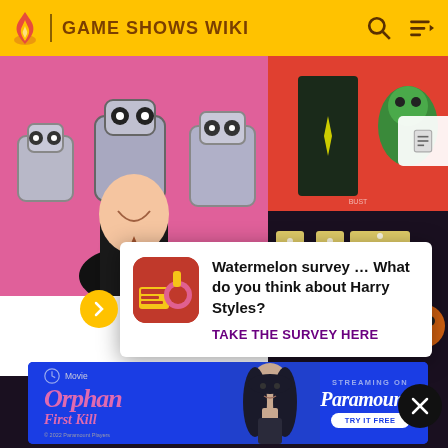GAME SHOWS WIKI
[Figure (screenshot): Game Shows Wiki website screenshot showing a carousel of game show images, a survey popup about Harry Styles, and a Paramount+ Orphan First Kill ad banner]
Watermelon survey … What do you think about Harry Styles?
TAKE THE SURVEY HERE
[Figure (photo): Orphan First Kill movie ad - Streaming on Paramount+ Try It Free]